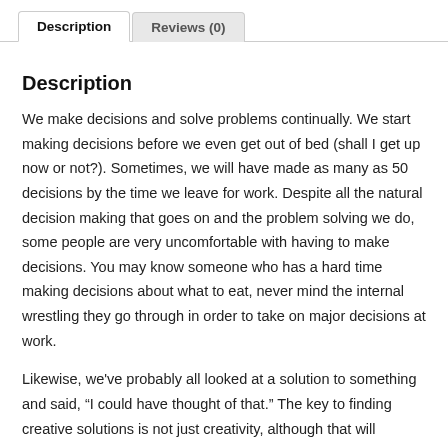Description | Reviews (0)
Description
We make decisions and solve problems continually. We start making decisions before we even get out of bed (shall I get up now or not?). Sometimes, we will have made as many as 50 decisions by the time we leave for work. Despite all the natural decision making that goes on and the problem solving we do, some people are very uncomfortable with having to make decisions. You may know someone who has a hard time making decisions about what to eat, never mind the internal wrestling they go through in order to take on major decisions at work.
Likewise, we've probably all looked at a solution to something and said, “I could have thought of that.” The key to finding creative solutions is not just creativity, although that will